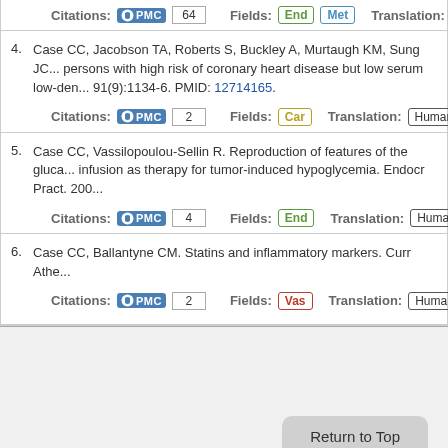Citations: PMC 64  Fields: End Met  Translation: Huma...
4. Case CC, Jacobson TA, Roberts S, Buckley A, Murtaugh KM, Sung JC... persons with high risk of coronary heart disease but low serum low-den... 91(9):1134-6. PMID: 12714165.  Citations: PMC 2  Fields: Car  Translation: Humans
5. Case CC, Vassilopoulou-Sellin R. Reproduction of features of the gluca... infusion as therapy for tumor-induced hypoglycemia. Endocr Pract. 200...  Citations: PMC 4  Fields: End  Translation: Humans
6. Case CC, Ballantyne CM. Statins and inflammatory markers. Curr Athe...  Citations: PMC 2  Fields: Vas  Translation: Humans
Return to Top